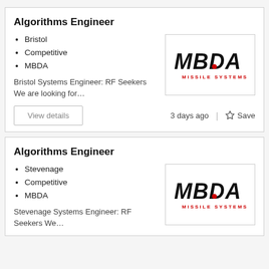Algorithms Engineer
Bristol
Competitive
MBDA
[Figure (logo): MBDA Missile Systems logo]
Bristol Systems Engineer: RF Seekers We are looking for…
View details | 3 days ago | Save
Algorithms Engineer
Stevenage
Competitive
MBDA
[Figure (logo): MBDA Missile Systems logo]
Stevenage Systems Engineer: RF Seekers We…